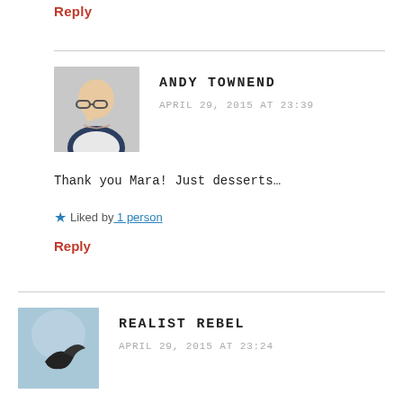Reply
ANDY TOWNEND
APRIL 29, 2015 AT 23:39
Thank you Mara! Just desserts…
Liked by 1 person
Reply
REALIST REBEL
APRIL 29, 2015 AT 23:24
So he killed the father… Hmmm…. I wonder why…